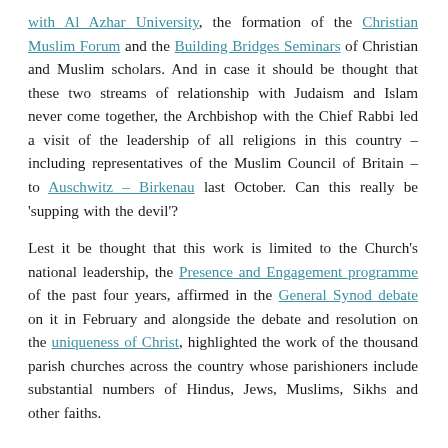with Al Azhar University, the formation of the Christian Muslim Forum and the Building Bridges Seminars of Christian and Muslim scholars. And in case it should be thought that these two streams of relationship with Judaism and Islam never come together, the Archbishop with the Chief Rabbi led a visit of the leadership of all religions in this country – including representatives of the Muslim Council of Britain – to Auschwitz – Birkenau last October. Can this really be 'supping with the devil'?

Lest it be thought that this work is limited to the Church's national leadership, the Presence and Engagement programme of the past four years, affirmed in the General Synod debate on it in February and alongside the debate and resolution on the uniqueness of Christ, highlighted the work of the thousand parish churches across the country whose parishioners include substantial numbers of Hindus, Jews, Muslims, Sikhs and other faiths.